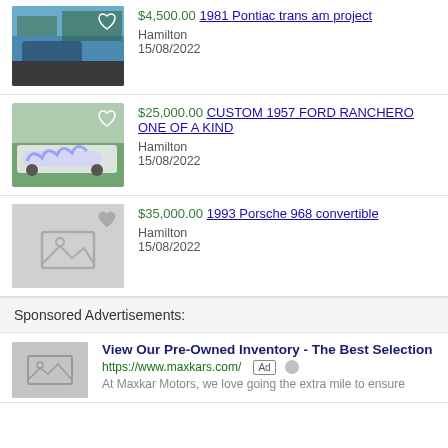[Figure (photo): Blue 1981 Pontiac Trans Am car listing photo with heart icon overlay]
$4,500.00 1981 Pontiac trans am project
Hamilton
15/08/2022
[Figure (photo): White/purple custom 1957 Ford Ranchero car listing photo with heart icon overlay]
$25,000.00 CUSTOM 1957 FORD RANCHERO ONE OF A KIND
Hamilton
15/08/2022
[Figure (photo): Gray placeholder image for 1993 Porsche 968 convertible listing with heart icon]
$35,000.00 1993 Porsche 968 convertible
Hamilton
15/08/2022
Sponsored Advertisements:
[Figure (photo): Gray placeholder ad image for Maxkar Motors]
View Our Pre-Owned Inventory - The Best Selection
https://www.maxkars.com/
At Maxkar Motors, we love going the extra mile to ensure